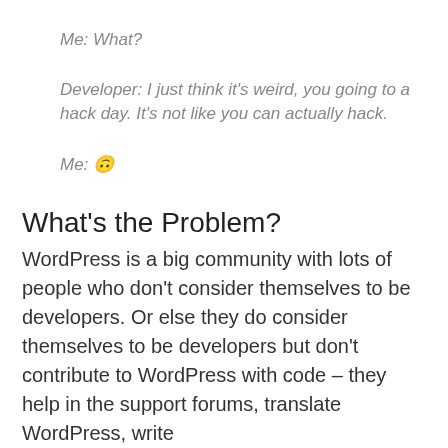Me: What?
Developer: I just think it's weird, you going to a hack day. It's not like you can actually hack.
Me: 🙃
What's the Problem?
WordPress is a big community with lots of people who don't consider themselves to be developers. Or else they do consider themselves to be developers but don't contribute to WordPress with code – they help in the support forums, translate WordPress, write